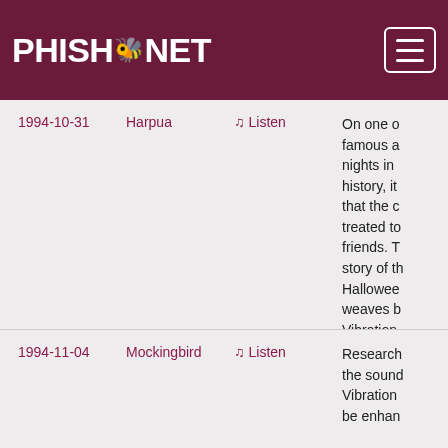PHISH.NET
| Date | Song | Listen | Description |
| --- | --- | --- | --- |
| 1994-10-31 | Harpua | Listen | On one of the most famous and legendary nights in the band's history, it was only fitting that the crowd was treated to a story with friends. Trey told the story of the Halloween night, and weaves between Vibration of Life and (Death) and then War Pigs by Black Sabbath in the retelling. |
| 1994-11-04 | Mockingbird | Listen | Research shows that the sound of Vibration can be enhan... |